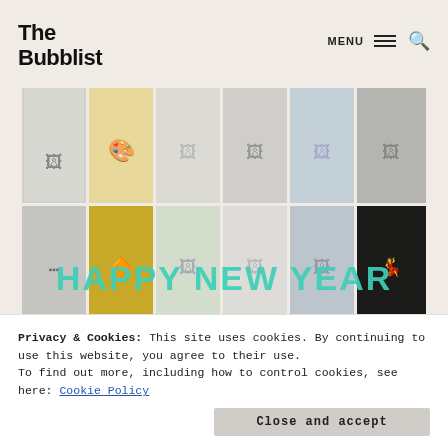The Bubblist
[Figure (photo): A 6×3 collage grid of art gallery and museum photos, with 'HAPPY NEW YEAR' overlaid in teal/mint colored bold text across the middle row.]
Privacy & Cookies: This site uses cookies. By continuing to use this website, you agree to their use.
To find out more, including how to control cookies, see here: Cookie Policy
Close and accept